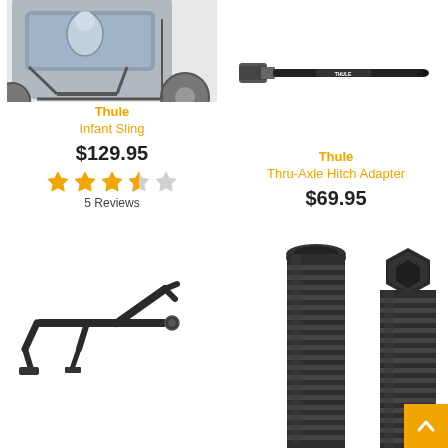[Figure (photo): Thule Infant Sling product shown installed in a bike trailer, gray padded sling with straps]
[Figure (photo): Thule Thru-Axle Hitch Adapter, a long black rod/axle component]
Thule
Infant Sling
$129.95
5 Reviews
Thule
Thru-Axle Hitch Adapter
$69.95
[Figure (photo): Black metal bike trailer hitch bracket/connector part]
[Figure (photo): Two black ribbed threaded bolts/pegs shown side by side, close-up]